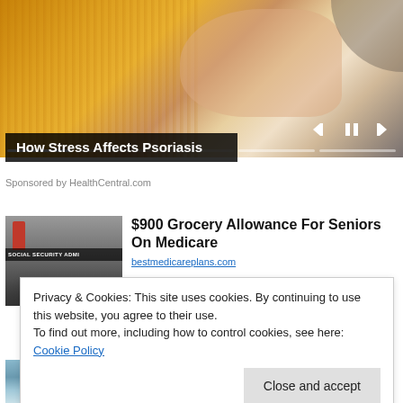[Figure (photo): Woman in yellow knit sweater with media player controls and progress bar overlay]
How Stress Affects Psoriasis
Sponsored by HealthCentral.com
[Figure (photo): Social Security Administration building exterior sign]
$900 Grocery Allowance For Seniors On Medicare
bestmedicareplans.com
Privacy & Cookies: This site uses cookies. By continuing to use this website, you agree to their use.
To find out more, including how to control cookies, see here: Cookie Policy
Close and accept
you believe it?